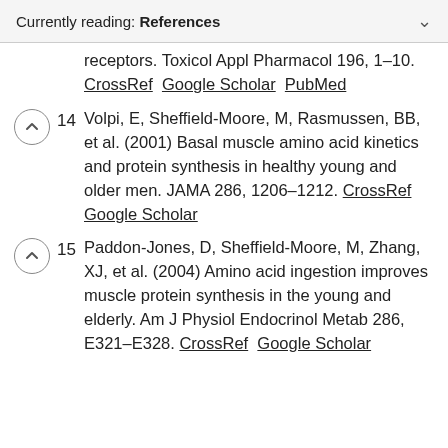Currently reading: References
receptors. Toxicol Appl Pharmacol 196, 1–10. CrossRef  Google Scholar  PubMed
14  Volpi, E, Sheffield-Moore, M, Rasmussen, BB, et al. (2001) Basal muscle amino acid kinetics and protein synthesis in healthy young and older men. JAMA 286, 1206–1212. CrossRef  Google Scholar
15  Paddon-Jones, D, Sheffield-Moore, M, Zhang, XJ, et al. (2004) Amino acid ingestion improves muscle protein synthesis in the young and elderly. Am J Physiol Endocrinol Metab 286, E321–E328. CrossRef  Google Scholar